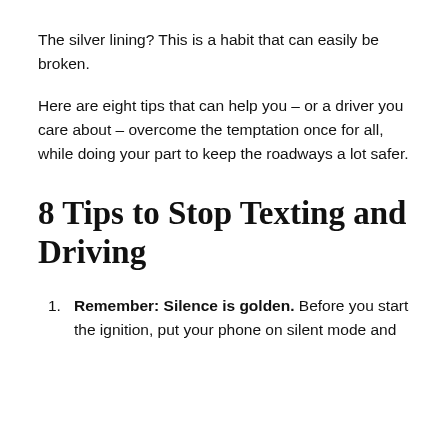The silver lining? This is a habit that can easily be broken.
Here are eight tips that can help you – or a driver you care about – overcome the temptation once for all, while doing your part to keep the roadways a lot safer.
8 Tips to Stop Texting and Driving
Remember: Silence is golden. Before you start the ignition, put your phone on silent mode and